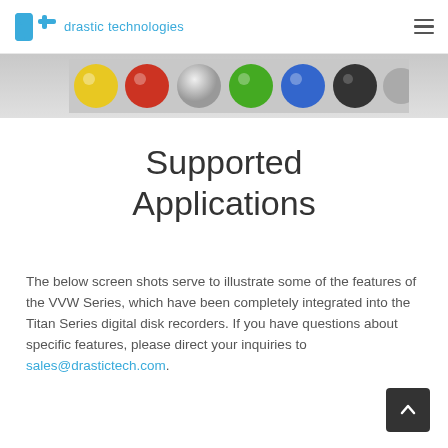drastic technologies
[Figure (photo): Partial view of colored spherical balls (yellow, red-orange, green, blue, dark) on a gray gradient background — cropped image strip at top of page]
Supported Applications
The below screen shots serve to illustrate some of the features of the VVW Series, which have been completely integrated into the Titan Series digital disk recorders. If you have questions about specific features, please direct your inquiries to sales@drastictech.com.